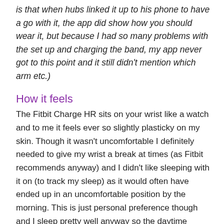is that when hubs linked it up to his phone to have a go with it, the app did show how you should wear it, but because I had so many problems with the set up and charging the band, my app never got to this point and it still didn't mention which arm etc.)
How it feels
The Fitbit Charge HR sits on your wrist like a watch and to me it feels ever so slightly plasticky on my skin. Though it wasn't uncomfortable I definitely needed to give my wrist a break at times (as Fitbit recommends anyway) and I didn't like sleeping with it on (to track my sleep) as it would often have ended up in an uncomfortable position by the morning. This is just personal preference though and I sleep pretty well anyway so the daytime tracking is more useful to me. It is